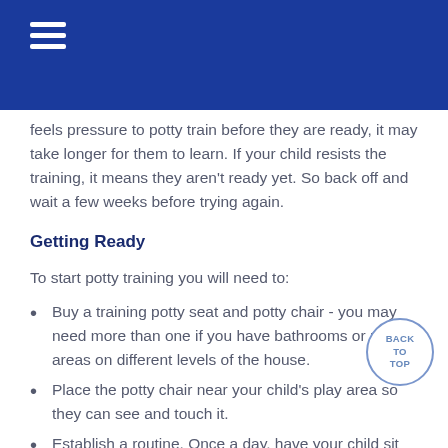feels pressure to potty train before they are ready, it may take longer for them to learn. If your child resists the training, it means they aren't ready yet. So back off and wait a few weeks before trying again.
Getting Ready
To start potty training you will need to:
Buy a training potty seat and potty chair - you may need more than one if you have bathrooms or play areas on different levels of the house.
Place the potty chair near your child's play area so they can see and touch it.
Establish a routine. Once a day, have your child sit